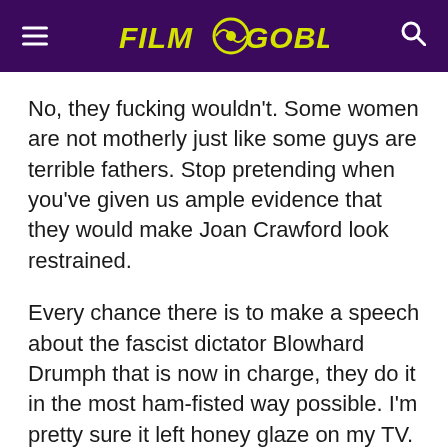Film Goblin
No, they fucking wouldn't. Some women are not motherly just like some guys are terrible fathers. Stop pretending when you've given us ample evidence that they would make Joan Crawford look restrained.
Every chance there is to make a speech about the fascist dictator Blowhard Drumph that is now in charge, they do it in the most ham-fisted way possible. I'm pretty sure it left honey glaze on my TV. When one character who has had a lot of growth and is determined